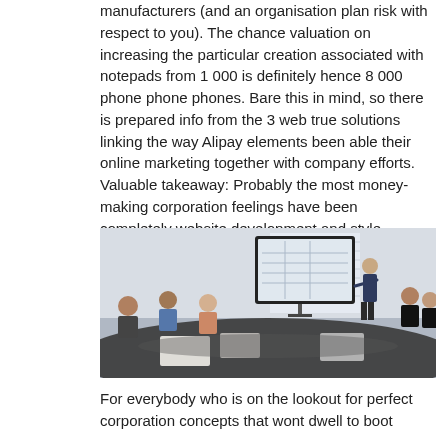manufacturers (and an organisation plan risk with respect to you). The chance valuation on increasing the particular creation associated with notepads from 1 000 is definitely hence 8 000 phone phone phones. Bare this in mind, so there is prepared info from the 3 web true solutions linking the way Alipay elements been able their online marketing together with company efforts. Valuable takeaway: Probably the most money-making corporation feelings have been completely website development and style, clean-up qualified service together with amazing residence.
[Figure (photo): A business meeting scene with people seated around a conference table, looking at a presenter who is pointing at a large display screen showing what appears to be a floor plan or blueprint.]
For everybody who is on the lookout for perfect corporation concepts that wont dwell to boot